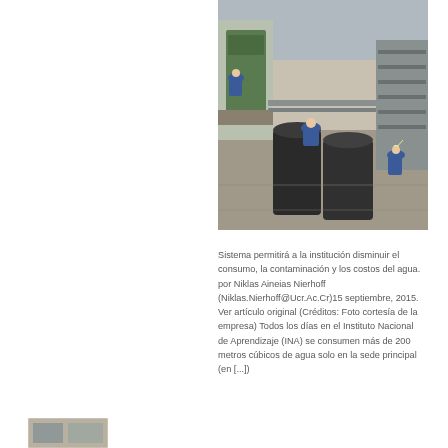[Figure (photo): Industrial or laboratory facility with workers in blue uniforms operating large cylindrical tanks and equipment on a factory floor.]
Sistema permitirá a la institución disminuir el consumo, la contaminación y los costos del agua. por Niklas Aineias Nierhoff (Niklas.Nierhoff@Ucr.Ac.Cr)15 septiembre, 2015.  Ver artículo original (Créditos: Foto cortesía de la empresa) Todos los días en el Instituto Nacional de Aprendizaje (INA) se consumen más de 200 metros cúbicos de agua solo en la sede principal (en [...]
[Figure (photo): Small thumbnail image partially visible at the bottom left of the page.]